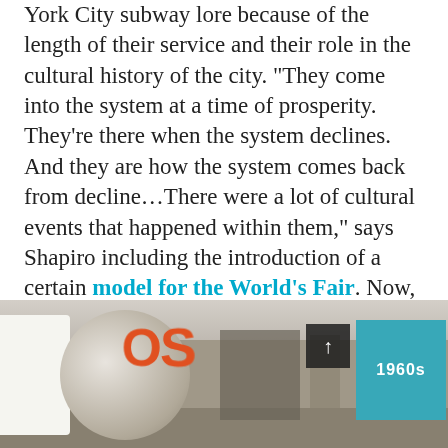York City subway lore because of the length of their service and their role in the cultural history of the city. "They come into the system at a time of prosperity. They're there when the system declines. And they are how the system comes back from decline…There were a lot of cultural events that happened within them," says Shapiro including the introduction of a certain model for the World's Fair. Now, inside a decommissioned subway station at 99 Schermerhorn Street, where the museum is located, visitors can learn about the Redbirds that were the precursor to the cars we ride in today and see actual vintage Redbirds on display on the lower level of the museum.
[Figure (photo): Interior of a museum in a decommissioned subway station showing exhibition displays including a cylindrical stand with orange text reading 'OF THE 80S', a teal '1960s' sign panel, white display panels, and museum exhibits in a dimly lit hall.]